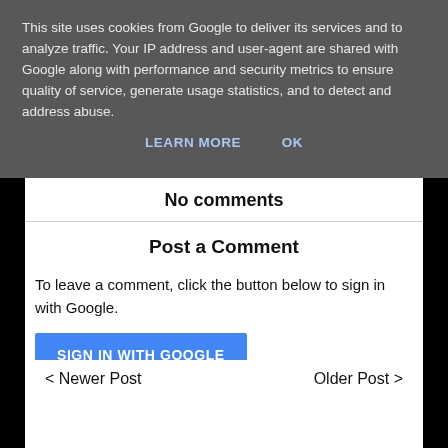This site uses cookies from Google to deliver its services and to analyze traffic. Your IP address and user-agent are shared with Google along with performance and security metrics to ensure quality of service, generate usage statistics, and to detect and address abuse.
LEARN MORE   OK
No comments
Post a Comment
To leave a comment, click the button below to sign in with Google.
SIGN IN WITH GOOGLE
< Newer Post
Older Post >